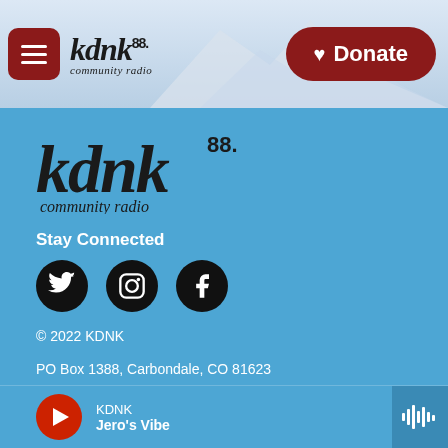KDNK 88.1 community radio — Navigation header with Donate button
[Figure (logo): KDNK 88.1 community radio logo in footer section]
Stay Connected
[Figure (infographic): Social media icons: Twitter, Instagram, Facebook]
© 2022 KDNK
PO Box 1388, Carbondale, CO 81623
76 S 2nd St, Carbondale, CO 81623
970 963-0139 (office) • 970 963-2976 (studio)
KDNK — Jero's Vibe (player bar)